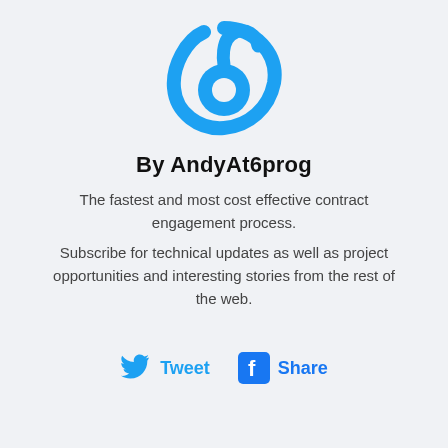[Figure (logo): Blue circular logo with a stylized '6' or spiral shape, resembling the 6prog brand logo.]
By AndyAt6prog
The fastest and most cost effective contract engagement process.
Subscribe for technical updates as well as project opportunities and interesting stories from the rest of the web.
[Figure (infographic): Tweet and Share social buttons with Twitter bird icon and Facebook 'f' icon, both in blue.]